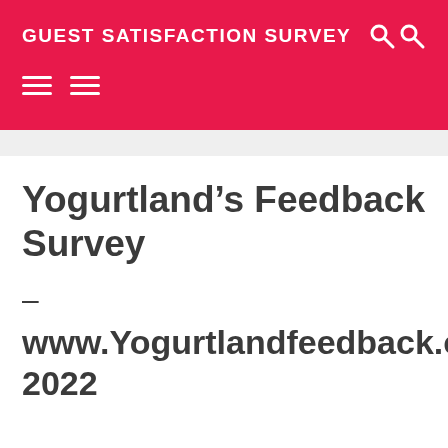GUEST SATISFACTION SURVEY
Yogurtland’s Feedback Survey
–
www.Yogurtlandfeedback.com 2022